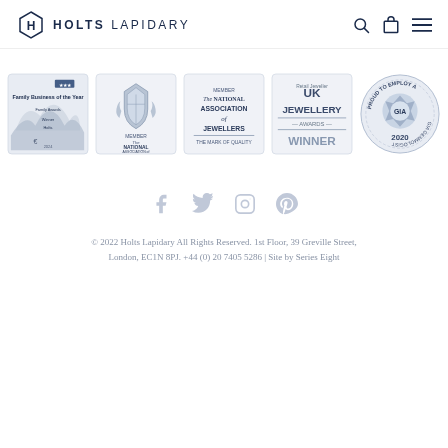HOLTS LAPIDARY
[Figure (logo): Holts Lapidary logo with hexagon H emblem and company name]
[Figure (infographic): Four award badges: Family Business of the Year, Member The National Association of Jewellers - The Mark of Quality, Retail Jeweller UK Jewellery Awards Winner, Proud to Employ a GIA Gemmologist 2020]
[Figure (infographic): Social media icons: Facebook, Twitter, Instagram, Pinterest]
© 2022 Holts Lapidary All Rights Reserved. 1st Floor, 39 Greville Street, London, EC1N 8PJ. +44 (0) 20 7405 5286 | Site by Series Eight